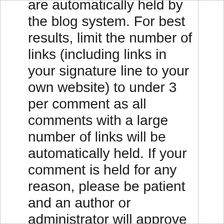are automatically held by the blog system. For best results, limit the number of links (including links in your signature line to your own website) to under 3 per comment as all comments with a large number of links will be automatically held. If your comment is held for any reason, please be patient and an author or administrator will approve it. Do not resubmit the same comment as subsequent submissions of the same